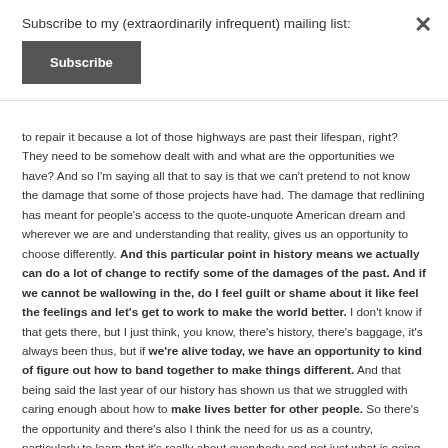Subscribe to my (extraordinarily infrequent) mailing list:
Subscribe
to repair it because a lot of those highways are past their lifespan, right? They need to be somehow dealt with and what are the opportunities we have? And so I'm saying all that to say is that we can't pretend to not know the damage that some of those projects have had. The damage that redlining has meant for people's access to the quote-unquote American dream and wherever we are and understanding that reality, gives us an opportunity to choose differently. And this particular point in history means we actually can do a lot of change to rectify some of the damages of the past. And if we cannot be wallowing in the, do I feel guilt or shame about it like feel the feelings and let's get to work to make the world better. I don't know if that gets there, but I just think, you know, there's history, there's baggage, it's always been thus, but if we're alive today, we have an opportunity to kind of figure out how to band together to make things different. And that being said the last year of our history has shown us that we struggled with caring enough about how to make lives better for other people. So there's the opportunity and there's also I think the need for us as a country, particularly to learn that it's really about everybody and not just what is going to get me through the day and my family alone, like we really have to care about other people.